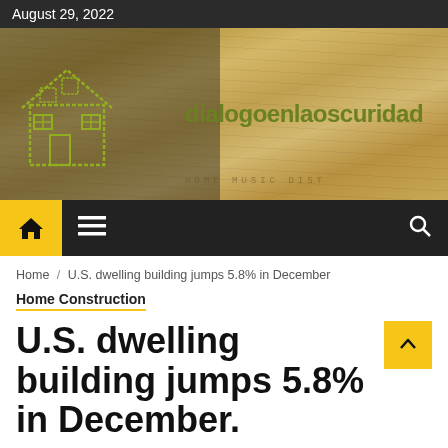August 29, 2022
[Figure (photo): Hero banner image showing construction tools (hammer, nails, tape measure) on a wooden background with the site logo 'dialogoenlaoscuridad' overlaid in olive/green text, along with a house icon outline]
[Figure (other): Navigation bar with yellow home button, hamburger menu icon, and search icon on dark background]
Home / U.S. dwelling building jumps 5.8% in December
Home Construction
U.S. dwelling building jumps 5.8% in December